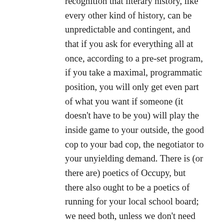recognition that literary history, like every other kind of history, can be unpredictable and contingent, and that if you ask for everything all at once, according to a pre-set program, if you take a maximal, programmatic position, you will only get even part of what you want if someone (it doesn't have to be you) will play the inside game to your outside, the good cop to your bad cop, the negotiator to your unyielding demand. There is (or there are) poetics of Occupy, but there also ought to be a poetics of running for your local school board; we need both, unless we don't need schools. (You can have both in the same poet, or the same poem: for example, Claudia Rankine's Citizen).
I never said C.D. Wright or Jorie Graham or Mark Levine or Thylias Moss or anybody else in 1998 (or in 2015) would be the end of history, or a stable